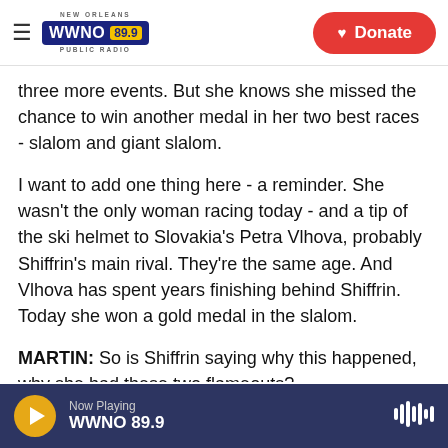NEW ORLEANS WWNO 89.9 PUBLIC RADIO | Donate
three more events. But she knows she missed the chance to win another medal in her two best races - slalom and giant slalom.
I want to add one thing here - a reminder. She wasn't the only woman racing today - and a tip of the ski helmet to Slovakia's Petra Vlhova, probably Shiffrin's main rival. They're the same age. And Vlhova has spent years finishing behind Shiffrin. Today she won a gold medal in the slalom.
MARTIN: So is Shiffrin saying why this happened, why she had these two flameouts?
Now Playing WWNO 89.9